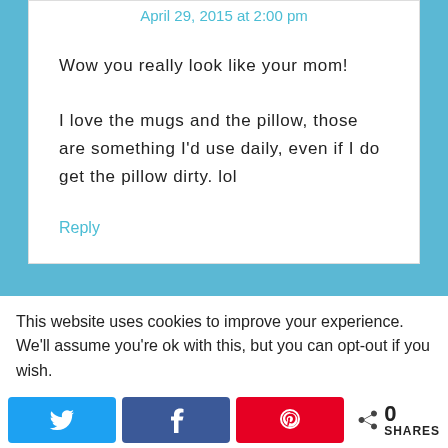April 29, 2015 at 2:00 pm
Wow you really look like your mom!
I love the mugs and the pillow, those are something I'd use daily, even if I do get the pillow dirty. lol
Reply
This website uses cookies to improve your experience. We'll assume you're ok with this, but you can opt-out if you wish.